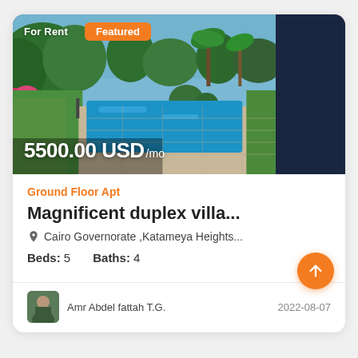[Figure (photo): Outdoor pool area with green lawn, trees, and a swimming pool. Right portion shows a dark navy panel. Badges overlay: 'For Rent' text and 'Featured' orange badge. Price overlay at bottom: '5500.00 USD/mo'.]
Ground Floor Apt
Magnificent duplex villa...
Cairo Governorate ,Katameya Heights...
Beds: 5    Baths: 4
Amr Abdel fattah T.G.
2022-08-07